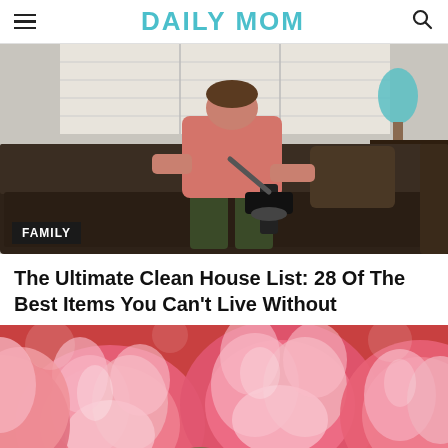DAILY MOM
[Figure (photo): Person in a pink shirt and dark shorts using a cordless vacuum/stick vacuum on a dark brown sofa in a living room with white shuttered windows and a teal lamp on a dark wood side table. A 'FAMILY' label overlay is shown at the bottom left.]
The Ultimate Clean House List: 28 Of The Best Items You Can't Live Without
[Figure (photo): Close-up photo of pink and white peony/tulip flowers in full bloom with vivid pink petals.]